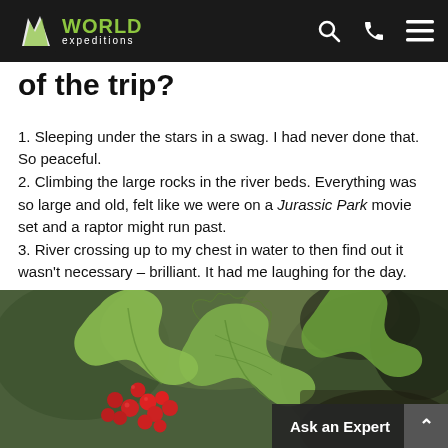World Expeditions
of the trip?
1. Sleeping under the stars in a swag. I had never done that. So peaceful.
2. Climbing the large rocks in the river beds. Everything was so large and old, felt like we were on a Jurassic Park movie set and a raptor might run past.
3. River crossing up to my chest in water to then find out it wasn't necessary – brilliant. It had me laughing for the day.
[Figure (photo): Close-up photo of green holly leaves with red berries against a blurred natural background]
Ask an Expert